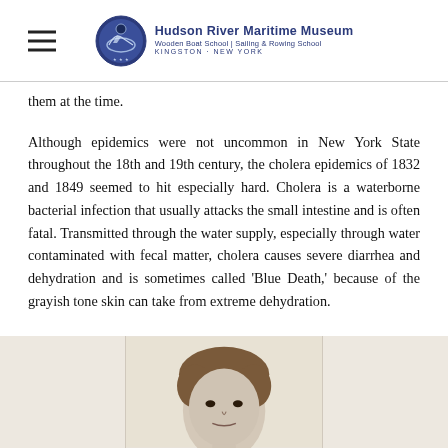Hudson River Maritime Museum | Wooden Boat School | Sailing & Rowing School | Kingston, New York
them at the time.
Although epidemics were not uncommon in New York State throughout the 18th and 19th century, the cholera epidemics of 1832 and 1849 seemed to hit especially hard. Cholera is a waterborne bacterial infection that usually attacks the small intestine and is often fatal. Transmitted through the water supply, especially through water contaminated with fecal matter, cholera causes severe diarrhea and dehydration and is sometimes called 'Blue Death,' because of the grayish tone skin can take from extreme dehydration.
[Figure (photo): Partial view of a historical illustration or portrait showing a figure's face and upper body, displayed across a strip at the bottom of the page with muted beige/cream background panels on either side.]